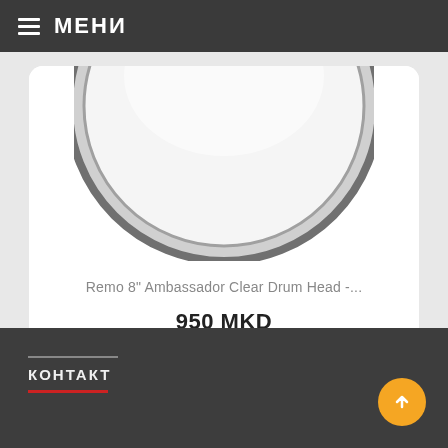МЕНИ
[Figure (photo): Remo 8" Ambassador Clear Drum Head product image - circular drum head shown from above, white/clear surface with grey rim, cropped showing top portion]
Remo 8" Ambassador Clear Drum Head -...
950 MKD
БРЗ ПРЕГЛЕД
КОНТАКТ